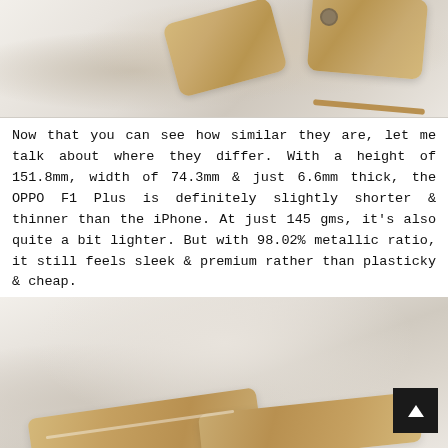[Figure (photo): Photo of two gold smartphones (OPPO F1 Plus and iPhone) lying on a white fabric surface, viewed from above/behind, showing their backs.]
Now that you can see how similar they are, let me talk about where they differ. With a height of 151.8mm, width of 74.3mm & just 6.6mm thick, the OPPO F1 Plus is definitely slightly shorter & thinner than the iPhone. At just 145 gms, it's also quite a bit lighter. But with 98.02% metallic ratio, it still feels sleek & premium rather than plasticky & cheap.
[Figure (photo): Photo of two gold smartphones lying at an angle on a white fabric surface, viewed from the side/front, showing their profiles. A dark scroll-to-top button is visible in the bottom-right corner.]